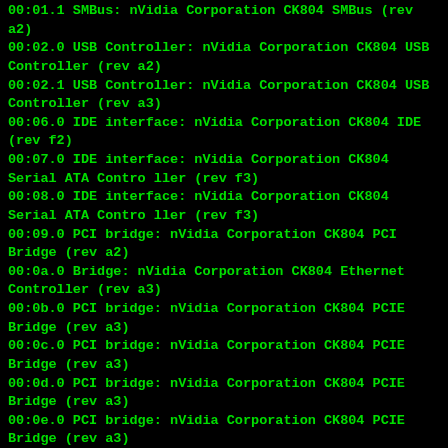00:01.1 SMBus: nVidia Corporation CK804 SMBus (rev a2)
00:02.0 USB Controller: nVidia Corporation CK804 USB Controller (rev a2)
00:02.1 USB Controller: nVidia Corporation CK804 USB Controller (rev a3)
00:06.0 IDE interface: nVidia Corporation CK804 IDE (rev f2)
00:07.0 IDE interface: nVidia Corporation CK804 Serial ATA Controller (rev f3)
00:08.0 IDE interface: nVidia Corporation CK804 Serial ATA Controller (rev f3)
00:09.0 PCI bridge: nVidia Corporation CK804 PCI Bridge (rev a2)
00:0a.0 Bridge: nVidia Corporation CK804 Ethernet Controller (rev a3)
00:0b.0 PCI bridge: nVidia Corporation CK804 PCIE Bridge (rev a3)
00:0c.0 PCI bridge: nVidia Corporation CK804 PCIE Bridge (rev a3)
00:0d.0 PCI bridge: nVidia Corporation CK804 PCIE Bridge (rev a3)
00:0e.0 PCI bridge: nVidia Corporation CK804 PCIE Bridge (rev a3)
00:18.0 Host bridge: Advanced Micro Devices [AMD] K8 [Athlon64/Opteron] HyperTransport Technology Configuration
00:18.1 Host bridge: Advanced Micro Devices [AMD] K8 [Athlon64/Opteron] Address Map
00:18.2 Host bridge: Advanced Micro Devices [AMD] K8 [Athlon64/Opteron] DRAM Controller